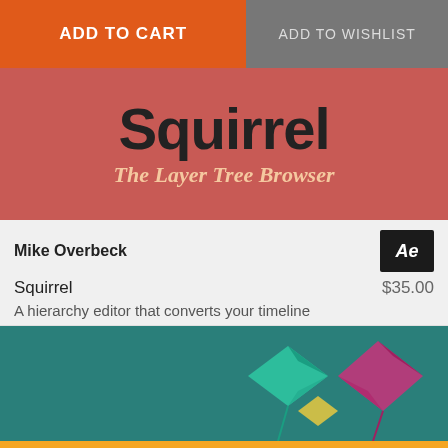[Figure (screenshot): Two buttons: orange ADD TO CART button and gray ADD TO WISHLIST button]
[Figure (illustration): Squirrel - The Layer Tree Browser product banner with salmon/red background, large text 'Squirrel' and subtitle 'The Layer Tree Browser']
Mike Overbeck
Squirrel $35.00
A hierarchy editor that converts your timeline
[Figure (illustration): Teal background banner with colorful geometric bird/kite illustrations]
This website requires cookies and uses web beacons to provide all of its features and functionality. For more information on what data is contained in the cookies and what is transmitted with the web beacons, please see our Privacy Policy page.
ACCEPT AND CONTINUE